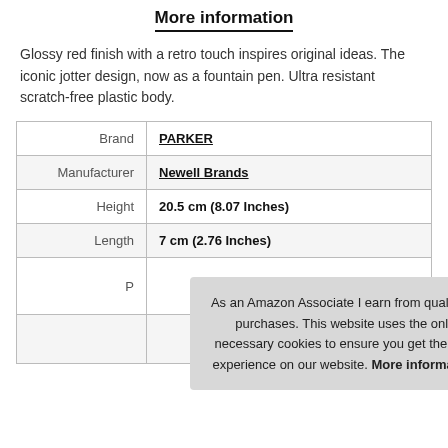More information
Glossy red finish with a retro touch inspires original ideas. The iconic jotter design, now as a fountain pen. Ultra resistant scratch-free plastic body.
| Brand | PARKER |
| Manufacturer | Newell Brands |
| Height | 20.5 cm (8.07 Inches) |
| Length | 7 cm (2.76 Inches) |
| P |  |
As an Amazon Associate I earn from qualifying purchases. This website uses the only necessary cookies to ensure you get the best experience on our website. More information